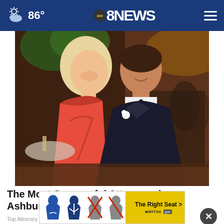abc 8 NEWS | 86°
[Figure (photo): A couple dressed formally — a woman in a red strapless dress and a man in a black tuxedo with bow tie and white boutonnière — posing together at what appears to be a banquet or gala event.]
The Most Successful Attorneys in Ashburn. See the List
Top Attorney | Sponsored Links
[Figure (infographic): NHTSA 'The Right Seat' ad banner showing child car seat safety icons]